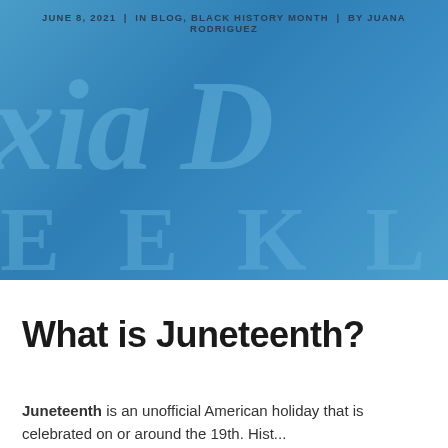[Figure (illustration): Blue banner/header image with large cursive script text 'Alexia D' and bold spaced letters 'WEEKLY' forming a magazine or blog logo background on a blue gradient background]
JUNE 8, 2021  |  IN BLOG, BLACK HISTORY MONTH  |  BY JUANA RODRIGUEZ
What is Juneteenth?
Juneteenth is an unofficial American holiday that is celebrated on or around the 19th. Hist...